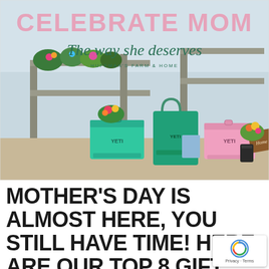[Figure (photo): Photo of YETI coolers and bags displayed in front of a garden nursery shelving unit with potted plants and flowers. Text overlay reads 'CELEBRATE MOM - The way she deserves - HUFFMAN'S FARM & HOME'. Products include teal, green, and pink YETI coolers plus bags arranged on a concrete surface.]
MOTHER'S DAY IS ALMOST HERE, YOU STILL HAVE TIME! HERE ARE OUR TOP 8 GIFT IDEAS FOR M...